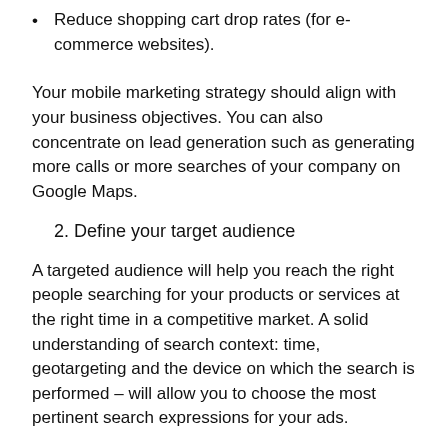Reduce shopping cart drop rates (for e-commerce websites).
Your mobile marketing strategy should align with your business objectives. You can also concentrate on lead generation such as generating more calls or more searches of your company on Google Maps.
2. Define your target audience
A targeted audience will help you reach the right people searching for your products or services at the right time in a competitive market. A solid understanding of search context: time, geotargeting and the device on which the search is performed – will allow you to choose the most pertinent search expressions for your ads.
Ask the right questions:
Who are your prospects and clients (age, gender, location,